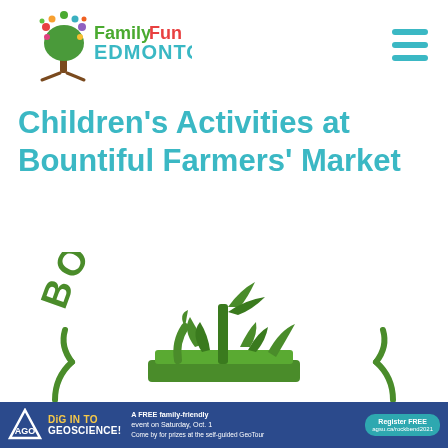[Figure (logo): FamilyFun Edmonton logo: colorful tree with dots/circles above, text 'FamilyFun' in green/red/orange and 'EDMONTON' in teal below]
Children’s Activities at Bountiful Farmers’ Market
[Figure (logo): Bountiful Farmers Market logo: green text 'BOUNTIFUL' in arc above a green illustration of vegetables and produce in a basket/crate]
[Figure (infographic): Bottom ad banner: dark blue background. Triangle/AGO logo on left. Text 'DIG IN TO GEOSCIENCE!' in white/yellow bold. 'A FREE family-friendly event on Saturday, Oct. 1' in white small text. 'Register FREE' button in teal on right.]